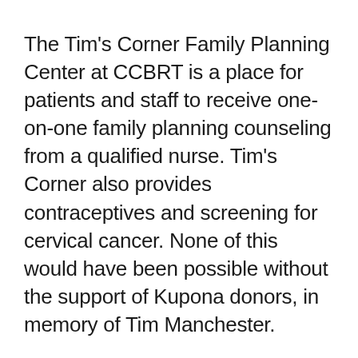The Tim's Corner Family Planning Center at CCBRT is a place for patients and staff to receive one-on-one family planning counseling from a qualified nurse. Tim's Corner also provides contraceptives and screening for cervical cancer. None of this would have been possible without the support of Kupona donors, in memory of Tim Manchester.
Situated just a few hundred feet from CCBRT Disability Hospital's entrance, Tim's Corner makes family planning counseling available to patients with disabilities and many of